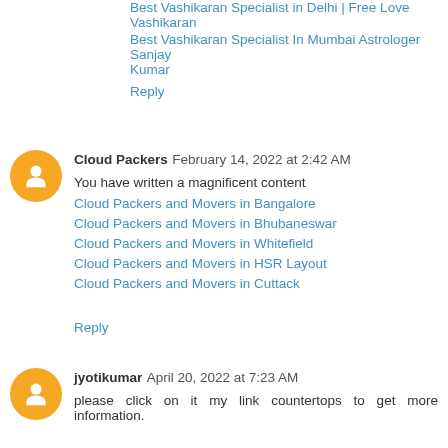Best Vashikaran Specialist in Delhi | Free Love Vashikaran
Best Vashikaran Specialist In Mumbai Astrologer Sanjay Kumar
Reply
Cloud Packers  February 14, 2022 at 2:42 AM
You have written a magnificent content
Cloud Packers and Movers in Bangalore
Cloud Packers and Movers in Bhubaneswar
Cloud Packers and Movers in Whitefield
Cloud Packers and Movers in HSR Layout
Cloud Packers and Movers in Cuttack
Reply
jyotikumar  April 20, 2022 at 7:23 AM
please click on it my link countertops to get more information.